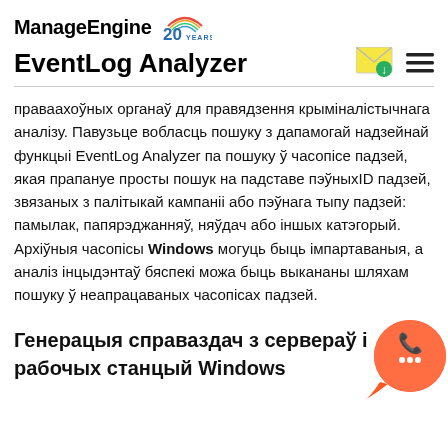ManageEngine 20 YEARS — EventLog Analyzer
праваахоўных органаў для правядзення крыміналістычнага аналізу. Павузьце вобласць пошуку з дапамогай надзейнай функцыі EventLog Analyzer па пошуку ў часопісе падзей, якая прапануе просты пошук на падставе пэўныхID падзей, звязаных з палітыкай кампаніі або пэўнага тыпу падзей: памылак, папярэджанняў, няўдач або іншых катэгорый. Архіўныя часопісы Windows могуць быць імпартаваныя, а аналіз інцыдэнтаў бяспекі можа быць выкананы шляхам пошуку ў неапрацаваных часопісах падзей.
Генерацыя справаздач з сервераў і рабочых станцый Windows